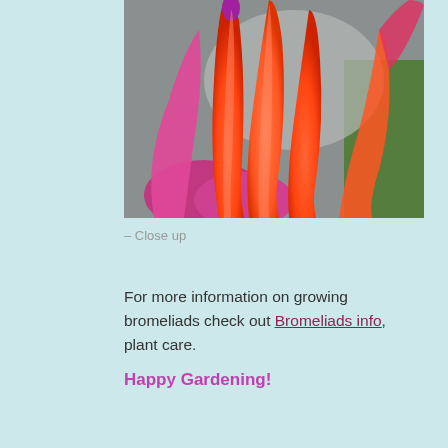[Figure (photo): Close-up photograph of bright red-orange bromeliad flower petals with pink/magenta base, set against a blurred grey and green background.]
– Close up
For more information on growing bromeliads check out Bromeliads info, plant care.
Happy Gardening!